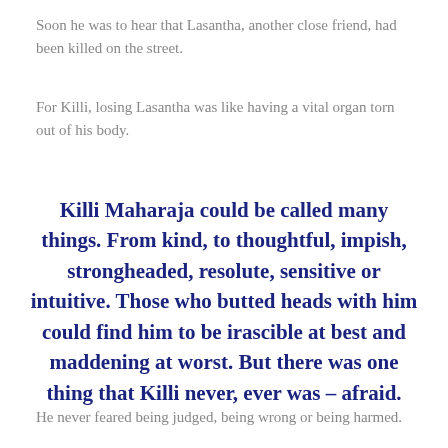Soon he was to hear that Lasantha, another close friend, had been killed on the street.
For Killi, losing Lasantha was like having a vital organ torn out of his body.
Killi Maharaja could be called many things. From kind, to thoughtful, impish, strongheaded, resolute, sensitive or intuitive. Those who butted heads with him could find him to be irascible at best and maddening at worst. But there was one thing that Killi never, ever was – afraid.
He never feared being judged, being wrong or being harmed.